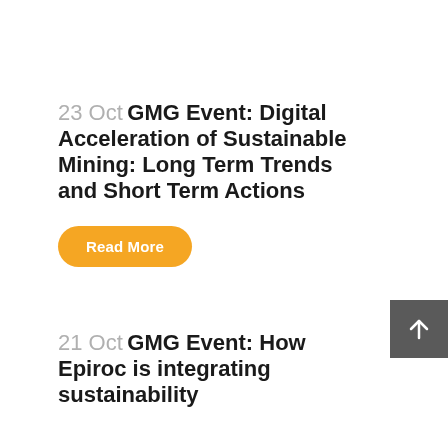23 Oct GMG Event: Digital Acceleration of Sustainable Mining: Long Term Trends and Short Term Actions
Read More
[Figure (other): Scroll to top button — dark grey square with white upward arrow]
21 Oct GMG Event: How Epiroc is integrating sustainability...